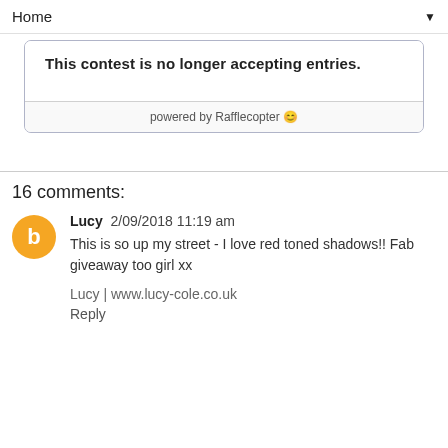Home ▼
This contest is no longer accepting entries.
powered by Rafflecopter 😊
16 comments:
Lucy  2/09/2018 11:19 am
This is so up my street - I love red toned shadows!! Fab giveaway too girl xx

Lucy | www.lucy-cole.co.uk
Reply